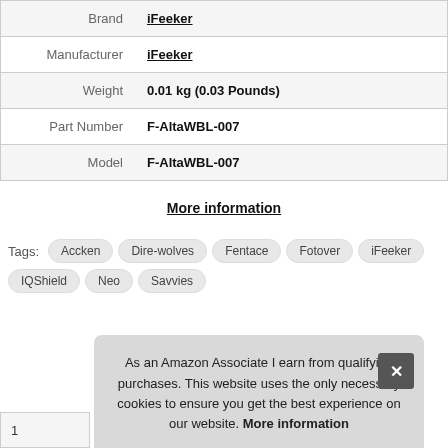| Brand | iFeeker |
| Manufacturer | iFeeker |
| Weight | 0.01 kg (0.03 Pounds) |
| Part Number | F-AltaWBL-007 |
| Model | F-AltaWBL-007 |
More information
Tags: Accken Dire-wolves Fentace Fotover iFeeker IQShield Neo Savvies
As an Amazon Associate I earn from qualifying purchases. This website uses the only necessary cookies to ensure you get the best experience on our website. More information